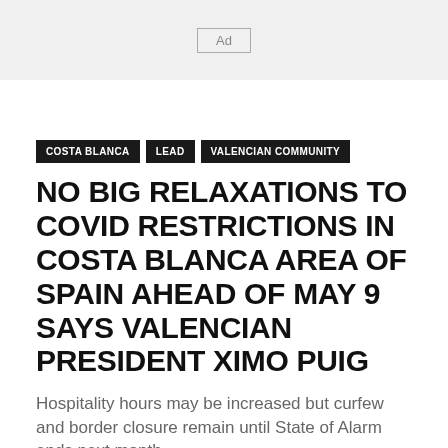[Figure (other): Ad banner placeholder with grey background and 'Ad' label in a box]
COSTA BLANCA
LEAD
VALENCIAN COMMUNITY
NO BIG RELAXATIONS TO COVID RESTRICTIONS IN COSTA BLANCA AREA OF SPAIN AHEAD OF MAY 9 SAYS VALENCIAN PRESIDENT XIMO PUIG
Hospitality hours may be increased but curfew and border closure remain until State of Alarm ends next month